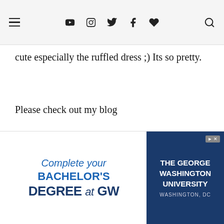Navigation bar with menu, social icons (YouTube, Instagram, Twitter, Facebook, heart), and search
cute especially the ruffled dress ;) Its so pretty.
Please check out my blog
http://mylittlelonelycorner-estherni.blogspot.com/
xoxoxo
Reply
[Figure (screenshot): Collapse/expand chevron button (down arrow) in a rounded rectangle]
[Figure (infographic): Advertisement banner: Complete your BACHELOR'S DEGREE at GW — The George Washington University, Washington DC]